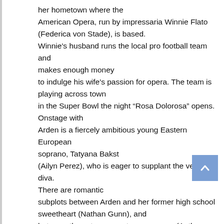her hometown where the American Opera, run by impressaria Winnie Flato (Federica von Stade), is based. Winnie's husband runs the local pro football team and makes enough money to indulge his wife's passion for opera. The team is playing across town in the Super Bowl the night “Rosa Dolorosa” opens. Onstage with Arden is a fiercely ambitious young Eastern European soprano, Tatyana Bakst (Ailyn Perez), who is eager to supplant the veteran diva. There are romantic subplots between Arden and her former high school sweetheart (Nathan Gunn), and between the cute young stage manager (Anthony Roth Costanzo), and the conductor (Kevin Burdette). In addition, there is a baribunk intent on